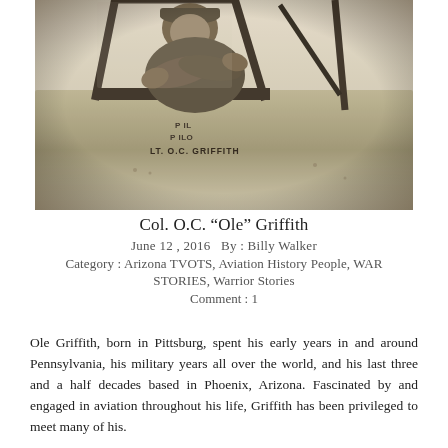[Figure (photo): Sepia-toned black and white photograph of Col. O.C. 'Ole' Griffith leaning out of an aircraft cockpit window with arms crossed, wearing a military uniform. Text on the aircraft fuselage reads 'PILOT LT. O.C. GRIFFITH'.]
Col. O.C. “Ole” Griffith
June 12 , 2016   By : Billy Walker
Category : Arizona TVOTS, Aviation History People, WAR STORIES, Warrior Stories
Comment : 1
Ole Griffith, born in Pittsburg, spent his early years in and around Pennsylvania, his military years all over the world, and his last three and a half decades based in Phoenix, Arizona. Fascinated by and engaged in aviation throughout his life, Griffith has been privileged to meet many of his.